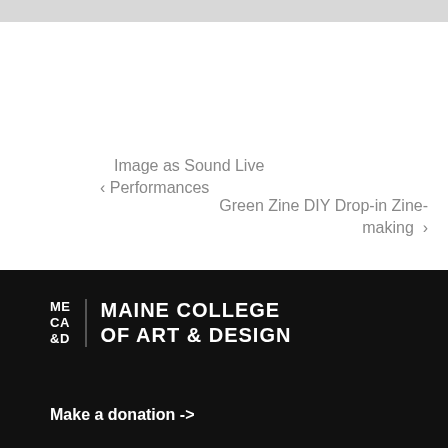‹ Image as Sound Live Performances
Green Zine DIY Drop-in Zine-making ›
[Figure (logo): MECA&D Maine College of Art & Design logo in white on black background]
Make a donation ->